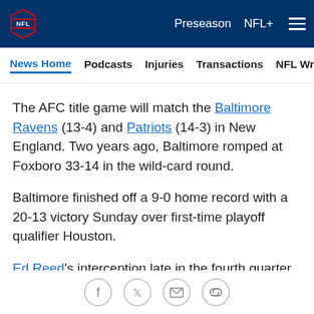NFL - Preseason NFL+
News Home | Podcasts | Injuries | Transactions | NFL Writers | Se
The AFC title game will match the Baltimore Ravens (13-4) and Patriots (14-3) in New England. Two years ago, Baltimore romped at Foxboro 33-14 in the wild-card round.
Baltimore finished off a 9-0 home record with a 20-13 victory Sunday over first-time playoff qualifier Houston.
Ed Reed's interception late in the fourth quarter sealed it…
Social share icons: Facebook, Twitter, Email, Link